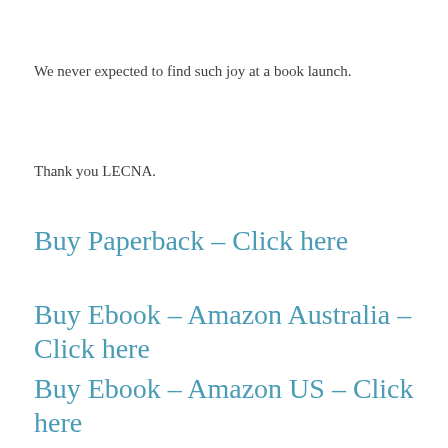We never expected to find such joy at a book launch.
Thank you LECNA.
Buy Paperback – Click here
Buy Ebook – Amazon Australia – Click here
Buy Ebook – Amazon US – Click here
Share this:
Tweet  More